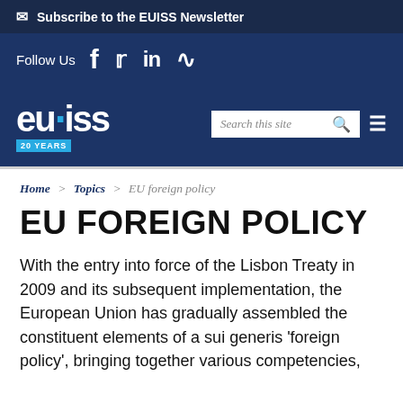Subscribe to the EUISS Newsletter
Follow Us  f  twitter  in  rss
[Figure (logo): EUISS logo with '20 YEARS' badge, search box, and hamburger menu icon]
Home > Topics > EU foreign policy
EU FOREIGN POLICY
With the entry into force of the Lisbon Treaty in 2009 and its subsequent implementation, the European Union has gradually assembled the constituent elements of a sui generis 'foreign policy', bringing together various competencies,